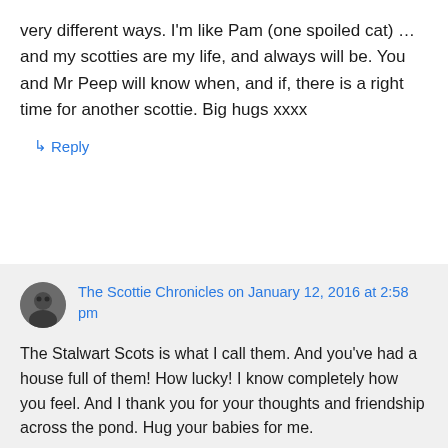very different ways. I'm like Pam (one spoiled cat) … and my scotties are my life, and always will be. You and Mr Peep will know when, and if, there is a right time for another scottie. Big hugs xxxx
↳ Reply
The Scottie Chronicles on January 12, 2016 at 2:58 pm
The Stalwart Scots is what I call them. And you've had a house full of them! How lucky! I know completely how you feel. And I thank you for your thoughts and friendship across the pond. Hug your babies for me.